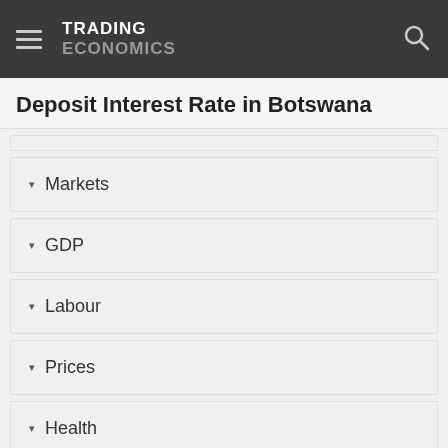TRADING ECONOMICS
Deposit Interest Rate in Botswana
Markets
GDP
Labour
Prices
Health
Money
Banks Balance Sheet